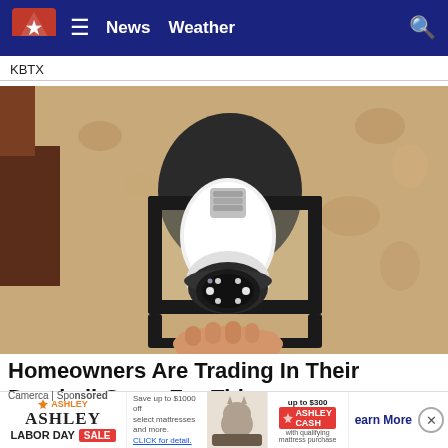News   Weather
KBTX
[Figure (photo): A security camera shaped like a light bulb installed inside an outdoor black lantern fixture mounted on a textured stucco wall. A hand is visible holding or adjusting the device from below.]
Homeowners Are Trading In Their Doorbell Cams For This
Camerca | Sponsored